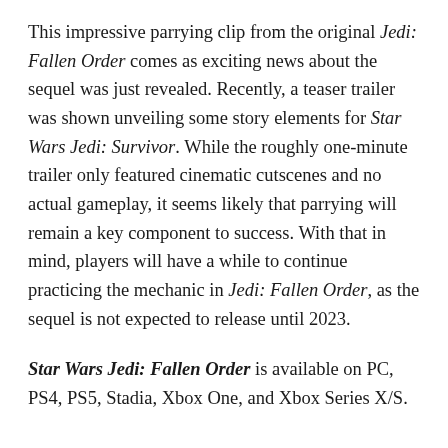This impressive parrying clip from the original Jedi: Fallen Order comes as exciting news about the sequel was just revealed. Recently, a teaser trailer was shown unveiling some story elements for Star Wars Jedi: Survivor. While the roughly one-minute trailer only featured cinematic cutscenes and no actual gameplay, it seems likely that parrying will remain a key component to success. With that in mind, players will have a while to continue practicing the mechanic in Jedi: Fallen Order, as the sequel is not expected to release until 2023.
Star Wars Jedi: Fallen Order is available on PC, PS4, PS5, Stadia, Xbox One, and Xbox Series X/S.